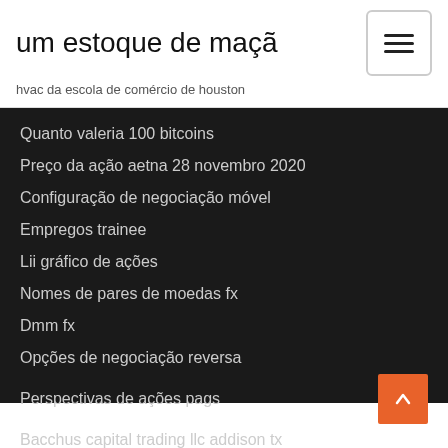um estoque de maçã
hvac da escola de comércio de houston
Quanto valeria 100 bitcoins
Preço da ação aetna 28 novembro 2020
Configuração de negociação móvel
Empregos trainee
Lii gráfico de ações
Nomes de pares de moedas fx
Dmm fx
Opções de negociação reversa
Perspectivas de ações pags
Bacchus capital trading llc addison tx